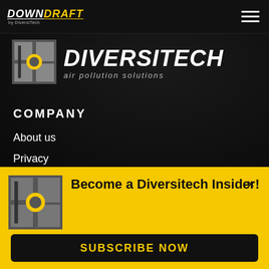[Figure (logo): DownDraft by Diversitech logo in top navigation bar]
[Figure (logo): Diversitech air pollution solutions logo with D icon]
COMPANY
About us
Privacy
[Figure (logo): Diversitech D icon in yellow popup banner]
Become a Diversitech Insider!
SUBSCRIBE NOW